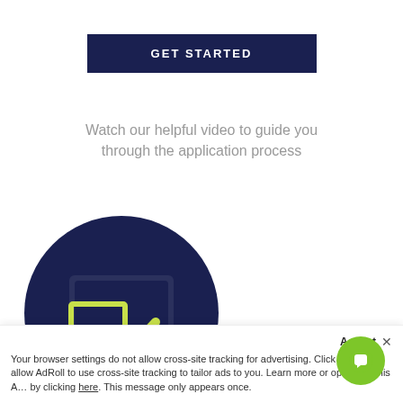[Figure (screenshot): Dark navy blue 'GET STARTED' button]
Watch our helpful video to guide you through the application process
[Figure (screenshot): Screenshot of a web page showing a circular dark navy illustration with a yellow-green checkmark/laptop graphic, overlaid by a chat popup with three avatar photos and text 'Have any questions? We're happy to help!', and a cookie consent bar at the bottom.]
Have any questions? We're happy to help!
Your browser settings do not allow cross-site tracking for advertising. Click on this to allow AdRoll to use cross-site tracking to tailor ads to you. Learn more or opt out of this A… by clicking here. This message only appears once.